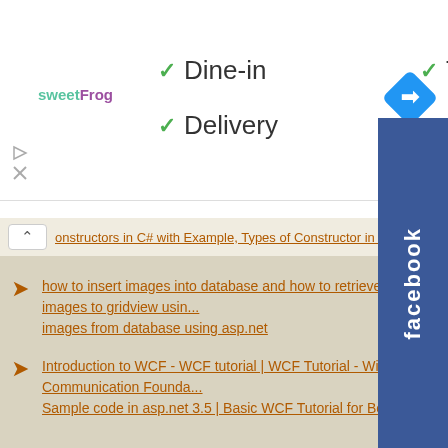[Figure (screenshot): sweetFrog logo in top-left of white banner]
✓ Dine-in
✓ Takeout
✓ Delivery
[Figure (logo): Blue diamond navigation/directions icon]
constructors in C# with Example, Types of Constructor in C# with Example
how to insert images into database and how to retrieve and bind images to gridview using... images from database using asp.net
Introduction to WCF - WCF tutorial | WCF Tutorial - Windows Communication Founda... Sample code in asp.net 3.5 | Basic WCF Tutorial for Beginners
[Figure (logo): Facebook blue vertical sidebar button]